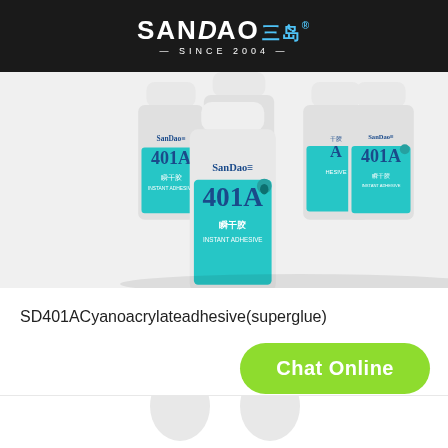SANDAO 三岛 SINCE 2004
[Figure (photo): Five bottles of SanDao 401A Instant Adhesive (superglue) cyanoacrylate adhesive arranged together, with teal/cyan labels showing product name 401A and 瞬干胶 (Instant Adhesive) branding]
SD401ACyanoacrylateadhesive(superglue)
[Figure (other): Chat Online button - green rounded rectangle with white text]
[Figure (other): Partial view of two white bottle caps at bottom of page]